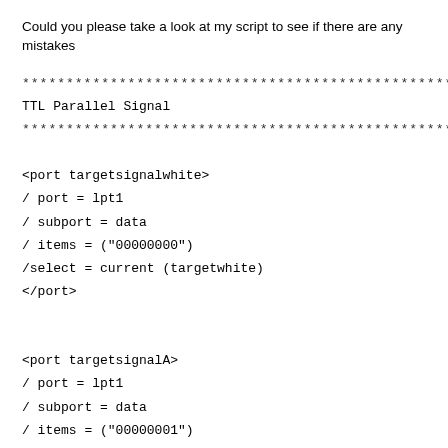Could you please take a look at my script to see if there are any mistakes
****************************************************************
TTL Parallel Signal
****************************************************************
<port targetsignalwhite>
/ port = lpt1
/ subport = data
/ items = ("00000000")
/select = current (targetwhite)
</port>

<port targetsignalA>
/ port = lpt1
/ subport = data
/ items = ("00000001")
/select = current (targeta)
</port>